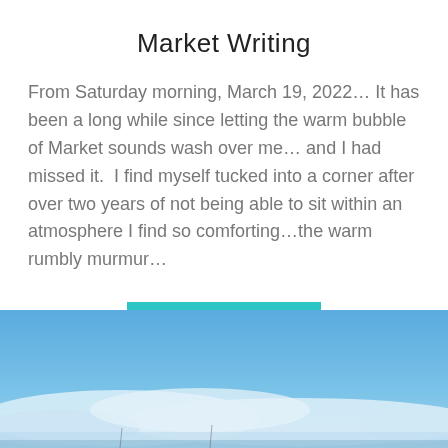Market Writing
From Saturday morning, March 19, 2022… It has been a long while since letting the warm bubble of Market sounds wash over me… and I had missed it.  I find myself tucked into a corner after over two years of not being able to sit within an atmosphere I find so comforting…the warm rumbly murmur…
READ MORE
[Figure (photo): Outdoor sky scene with blue sky, white clouds low on the horizon, and what appears to be a marina or coastal area at the bottom edge.]